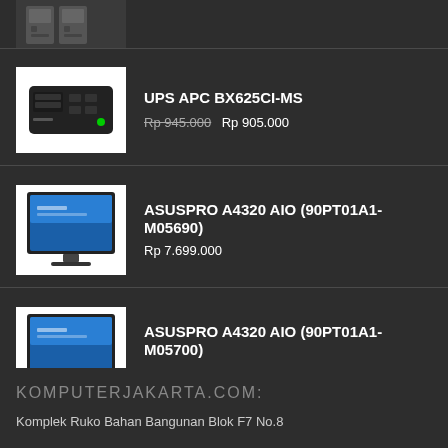[Figure (photo): Computer tower/desktop product thumbnail (partial, top of list item)]
UPS APC BX625CI-MS
Rp 945.000 Rp 905.000
[Figure (photo): UPS APC BX625CI-MS product image showing a black UPS battery unit]
ASUSPRO A4320 AIO (90PT01A1-M05690)
Rp 7.699.000
[Figure (photo): ASUSPRO A4320 AIO desktop computer with monitor showing blue screen]
ASUSPRO A4320 AIO (90PT01A1-M05700)
Rp 9.099.000
[Figure (photo): ASUSPRO A4320 AIO desktop computer with monitor showing blue screen]
KOMPUTERJAKARTA.COM:
Komplek Ruko Bahan Bangunan Blok F7 No.8